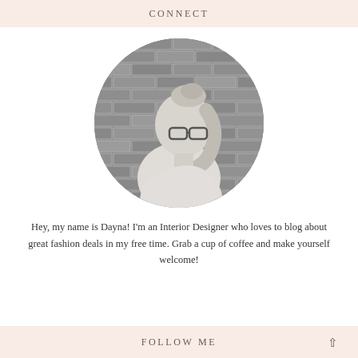CONNECT
[Figure (photo): Circular black-and-white portrait photo of a woman with glasses and blonde hair in a bun, wearing a light top, standing in front of a brick wall, photographed from the side/back angle looking over her shoulder.]
Hey, my name is Dayna! I'm an Interior Designer who loves to blog about great fashion deals in my free time. Grab a cup of coffee and make yourself welcome!
FOLLOW ME